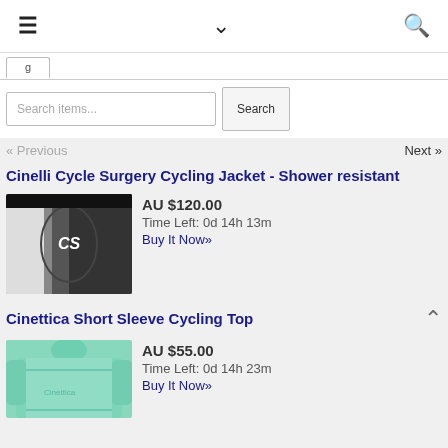≡  ∨  🔍
Search items...  Search
« Previous   Next »
Cinelli Cycle Surgery Cycling Jacket - Shower resistant
[Figure (photo): Photo of a black and white cycling jacket with CS logo]
AU $120.00
Time Left: 0d 14h 13m
Buy It Now»
Cinettica Short Sleeve Cycling Top
[Figure (photo): Photo of a mint green short sleeve cycling top]
AU $55.00
Time Left: 0d 14h 23m
Buy It Now»